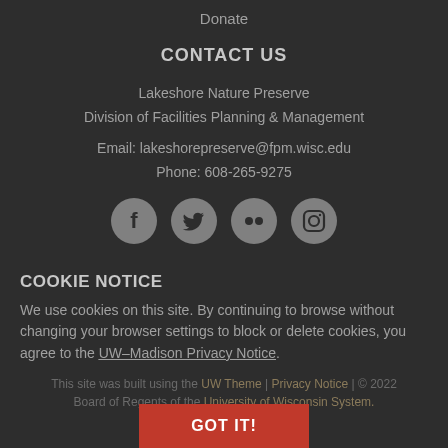Donate
CONTACT US
Lakeshore Nature Preserve
Division of Facilities Planning & Management
Email: lakeshorepreserve@fpm.wisc.edu
Phone: 608-265-9275
[Figure (illustration): Four social media icons in circular gray buttons: Facebook, Twitter, Flickr, Instagram]
COOKIE NOTICE
We use cookies on this site. By continuing to browse without changing your browser settings to block or delete cookies, you agree to the UW–Madison Privacy Notice.
This site was built using the UW Theme | Privacy Notice | © 2022 Board of Regents of the University of Wisconsin System.
GOT IT!